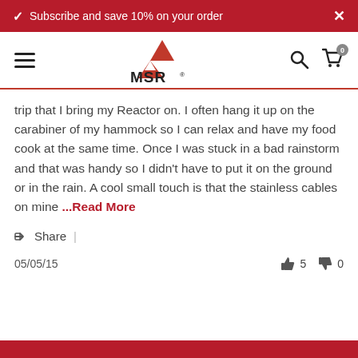Subscribe and save 10% on your order
[Figure (logo): MSR (Mountain Safety Research) logo with red mountain peaks above MSR text]
trip that I bring my Reactor on. I often hang it up on the carabiner of my hammock so I can relax and have my food cook at the same time. Once I was stuck in a bad rainstorm and that was handy so I didn't have to put it on the ground or in the rain. A cool small touch is that the stainless cables on mine ...Read More
Share |
05/05/15  👍 5  👎 0